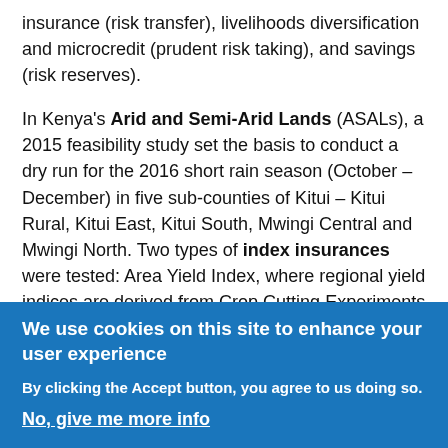insurance (risk transfer), livelihoods diversification and microcredit (prudent risk taking), and savings (risk reserves).
In Kenya's Arid and Semi-Arid Lands (ASALs), a 2015 feasibility study set the basis to conduct a dry run for the 2016 short rain season (October – December) in five sub-counties of Kitui – Kitui Rural, Kitui East, Kitui South, Mwingi Central and Mwingi North. Two types of index insurances were tested: Area Yield Index, where regional yield indices are derived from Crop Cutting Experiments (CCE) and a Weather Index based approach. Based on the dry run, it was selected to proceed with the Area Yield approach as it
We use cookies on this site to enhance your user experience
By clicking the Accept button, you agree to us doing so.
No, give me more info